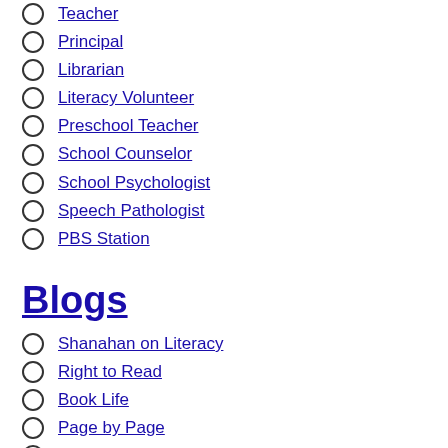Teacher
Principal
Librarian
Literacy Volunteer
Preschool Teacher
School Counselor
School Psychologist
Speech Pathologist
PBS Station
Blogs
Shanahan on Literacy
Right to Read
Book Life
Page by Page
Reading Without Walls
Summer Adventures: Read, Talk, Explore!